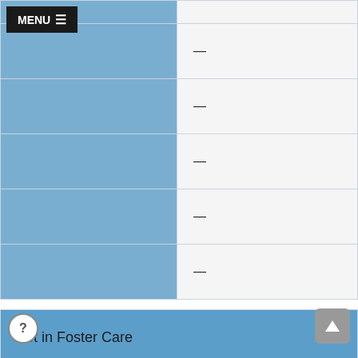| Category | Value |
| --- | --- |
| (blue cell) | — |
| (blue cell) | — |
| (blue cell) | — |
| (blue cell) | — |
| (blue cell) | — |
Not in Foster Care
| Category | Value |
| --- | --- |
| (blue cell) | 70 |
| (blue cell) | 10 |
| (blue cell) | 14% |
| (blue cell) | 15 |
| (blue cell) | 21% |